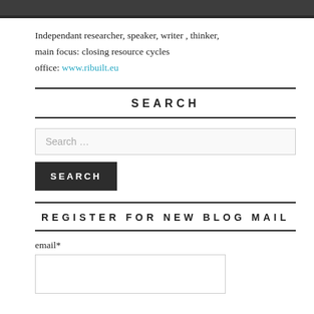Independant researcher, speaker, writer , thinker,
main focus: closing resource cycles
office: www.ribuilt.eu
SEARCH
Search …
SEARCH
REGISTER FOR NEW BLOG MAIL
email*